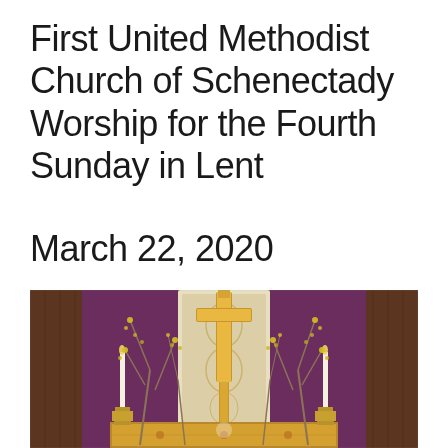First United Methodist Church of Schenectady Worship for the Fourth Sunday in Lent
March 22, 2020
[Figure (photo): Church altar with a tall golden cross on a purple draped background, flanked by white candles in brass candlesticks and flowering branches with small yellow blossoms. An ornate gold altar frontal is visible at the bottom.]